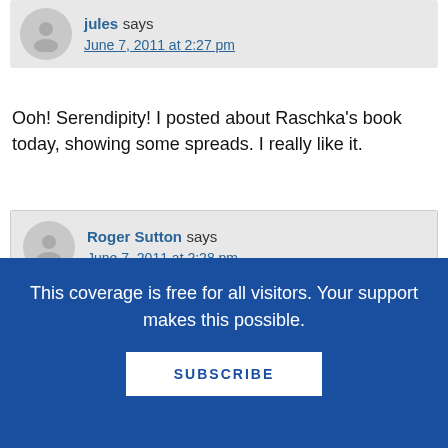jules says
June 7, 2011 at 2:27 pm
Ooh! Serendipity! I posted about Raschka's book today, showing some spreads. I really like it.
Roger Sutton says
June 7, 2011 at 2:28 pm
Re Caldecott; Hugo Cabret also interpolated
This coverage is free for all visitors. Your support makes this possible.
SUBSCRIBE